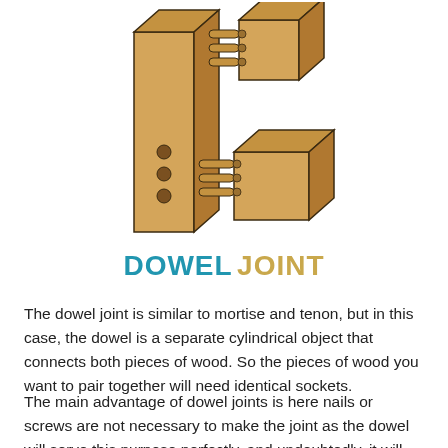[Figure (illustration): Illustration of a dowel joint showing three wooden pieces: a tall vertical board with three circular dowel holes on its face, a smaller block approaching from the upper right with three dowels protruding, and another smaller block approaching from the lower right with dowels protruding, demonstrating how dowel joints connect pieces of wood.]
DOWEL JOINT
The dowel joint is similar to mortise and tenon, but in this case, the dowel is a separate cylindrical object that connects both pieces of wood. So the pieces of wood you want to pair together will need identical sockets.
The main advantage of dowel joints is here nails or screws are not necessary to make the joint as the dowel will serve this purpose perfectly, and undoubtedly, it will give the dominant that the jointed has as if the dowel d...